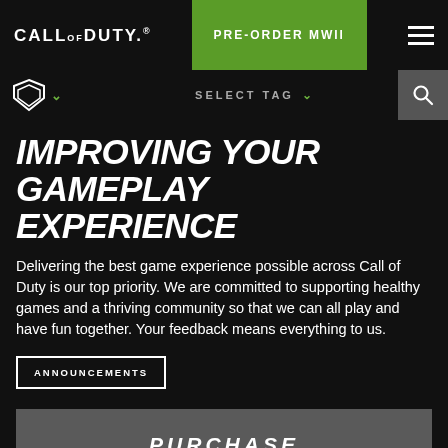CALL OF DUTY®   PRE-ORDER MWII
IMPROVING YOUR GAMEPLAY EXPERIENCE
Delivering the best game experience possible across Call of Duty is our top priority. We are committed to supporting healthy games and a thriving community so that we can all play and have fun together. Your feedback means everything to us.
ANNOUNCEMENTS
PURCHASE